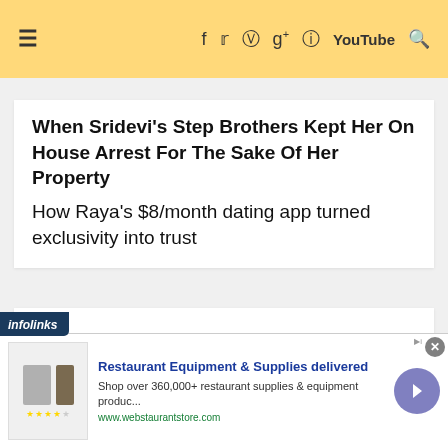≡  f  t  p  g+  📷  yt  🔍
When Sridevi's Step Brothers Kept Her On House Arrest For The Sake Of Her Property
How Raya's $8/month dating app turned exclusivity into trust
[Figure (other): Find Us On Facebook button with yellow background and a horizontal divider line below it]
[Figure (infographic): Infolinks ad bar with Restaurant Equipment & Supplies advertisement from webstaurantstore.com]